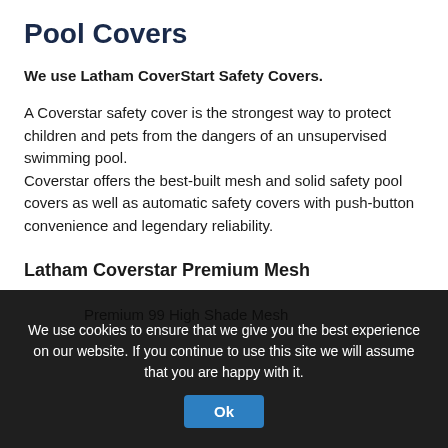Pool Covers
We use Latham CoverStart Safety Covers.
A Coverstar safety cover is the strongest way to protect children and pets from the dangers of an unsupervised swimming pool.
Coverstar offers the best-built mesh and solid safety pool covers as well as automatic safety covers with push-button convenience and legendary reliability.
Latham Coverstar Premium Mesh
Premium 99 High Shade Mesh
We use cookies to ensure that we give you the best experience on our website. If you continue to use this site we will assume that you are happy with it.